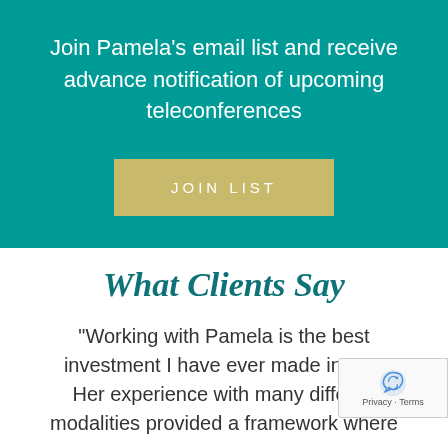Join Pamela's email list and receive advance notification of upcoming teleconferences
[Figure (other): JOIN LIST button — gold/yellow rectangular button with white spaced text]
What Clients Say
“Working with Pamela is the best investment I have ever made in mys… Her experience with many differen… modalities provided a framework where…